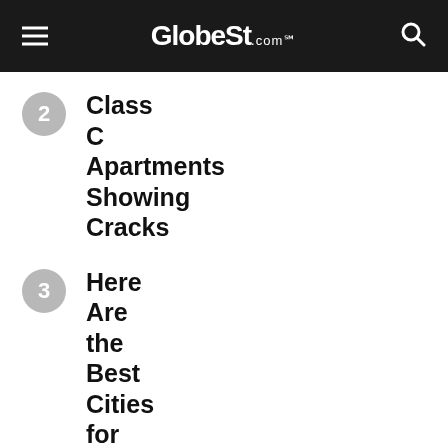GlobeSt.com℠
2 Class C Apartments Showing Cracks
3 Here Are the Best Cities for Gen Z
4 Thought the Fed Might